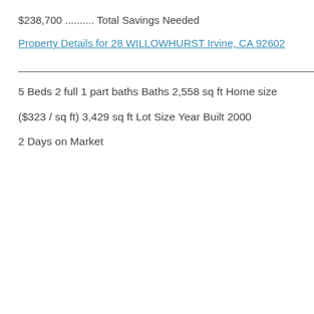$238,700 .......... Total Savings Needed
Property Details for 28 WILLOWHURST Irvine, CA 92602
————————————————————————————————
5 Beds
2 full 1 part baths Baths
2,558 sq ft Home size
($323 / sq ft)
3,429 sq ft Lot Size
Year Built 2000
2 Days on Market